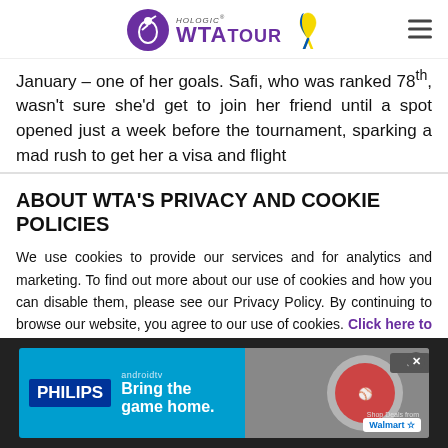Hologic WTA Tour
January – one of her goals. Safi, who was ranked 78th, wasn't sure she'd get to join her friend until a spot opened just a week before the tournament, sparking a mad rush to get her a visa and flight
ABOUT WTA'S PRIVACY AND COOKIE POLICIES
We use cookies to provide our services and for analytics and marketing. To find out more about our use of cookies and how you can disable them, please see our Privacy Policy. By continuing to browse our website, you agree to our use of cookies. Click here to find out more info.
[Figure (other): Philips Android TV advertisement banner with tagline 'Bring the game home.' and Walmart logo]